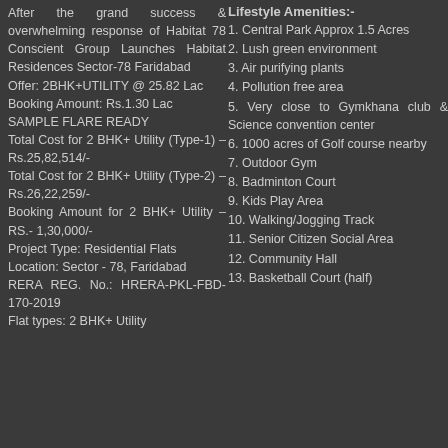After the grand success & overwhelming response of Habitat 78 Conscient Group Launches Habitat Residences Sector-78 Faridabad
Offer: 2BHK+UTILITY @ 25.82 Lac
Booking Amount: Rs.1.30 Lac
SAMPLE FLARE READY
Total Cost for 2 BHK+ Utility (Type-1) – Rs.25,82,514/-
Total Cost for 2 BHK+ Utility (Type-2) – Rs.26,22,259/-
Booking Amount for 2 BHK+ Utility – RS.- 1,30,000/-
Project Type: Residential Flats
Location: Sector - 78, Faridabad
RERA REG. No.: HRERA-PKL-FBD-170-2019
Flat types: 2 BHK+ Utility
Lifestyle Amenities:-
1.  Central Park Approx 1.5 Acres
2. Lush green environment
3. Air purifying plants
4. Pollution free area
5. Very close to Gymkhana club & Science convention center
6.   1000 acres of Golf course nearby
7. Outdoor Gym
8. Badminton Court
9. Kids Play Area
10. Walking/Jogging Track
11.  Senior Citizen Social Area
12. Community Hall
13. Basketball Court (half)